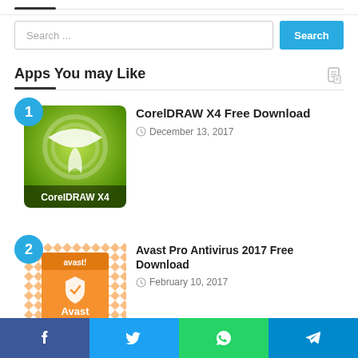[Figure (screenshot): Search bar with placeholder text 'Search ...' and a blue 'Search' button]
Apps You may Like
CorelDRAW X4 Free Download
December 13, 2017
Avast Pro Antivirus 2017 Free Download
February 10, 2017
[Figure (infographic): Social share bar with Facebook, Twitter, WhatsApp, and Telegram icons]